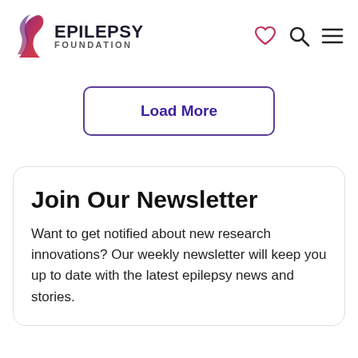EPILEPSY FOUNDATION
Load More
Join Our Newsletter
Want to get notified about new research innovations? Our weekly newsletter will keep you up to date with the latest epilepsy news and stories.